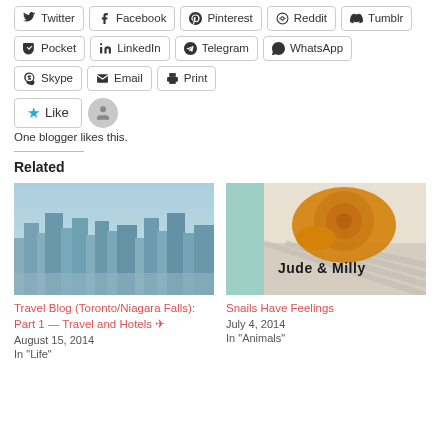Twitter
Facebook
Pinterest
Reddit
Tumblr
Pocket
LinkedIn
Telegram
WhatsApp
Skype
Email
Print
One blogger likes this.
Related
[Figure (photo): Aerial city skyline photo (Toronto)]
Travel Blog (Toronto/Niagara Falls): Part 1 — Travel and Hotels ✈
August 15, 2014
In "Life"
[Figure (photo): Photo of snails (Jude & Milly) with text overlay]
Snails Have Feelings
July 4, 2014
In "Animals"